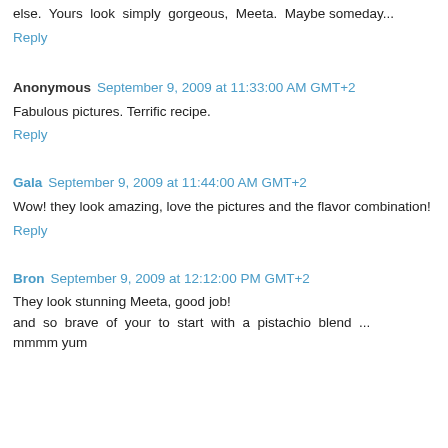else. Yours look simply gorgeous, Meeta. Maybe someday...
Reply
Anonymous September 9, 2009 at 11:33:00 AM GMT+2
Fabulous pictures. Terrific recipe.
Reply
Gala September 9, 2009 at 11:44:00 AM GMT+2
Wow! they look amazing, love the pictures and the flavor combination!
Reply
Bron September 9, 2009 at 12:12:00 PM GMT+2
They look stunning Meeta, good job!
and so brave of your to start with a pistachio blend ... mmmm yum